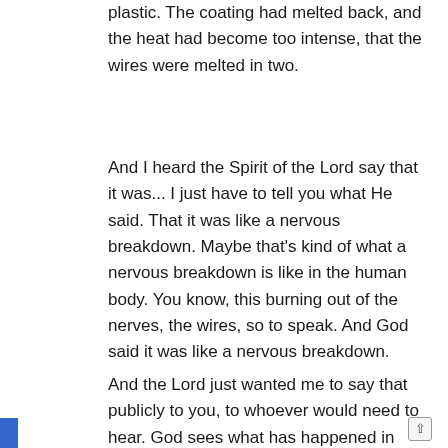plastic. The coating had melted back, and the heat had become too intense, that the wires were melted in two.
And I heard the Spirit of the Lord say that it was... I just have to tell you what He said. That it was like a nervous breakdown. Maybe that's kind of what a nervous breakdown is like in the human body. You know, this burning out of the nerves, the wires, so to speak. And God said it was like a nervous breakdown.
And the Lord just wanted me to say that publicly to you, to whoever would need to hear. God sees what has happened in your life. He sees what's happened in your natural life, your physical life. He sees what's